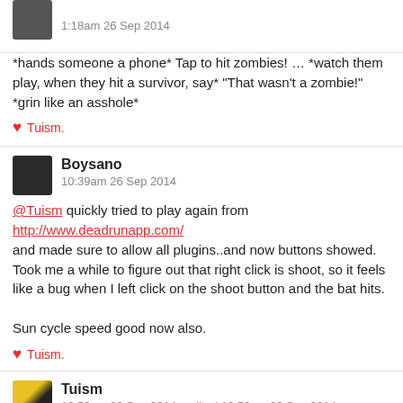disrektd
1:18am 26 Sep 2014
*hands someone a phone* Tap to hit zombies! … *watch them play, when they hit a survivor, say* "That wasn't a zombie!" *grin like an asshole*
♥ Tuism.
Boysano
10:39am 26 Sep 2014
@Tuism quickly tried to play again from http://www.deadrunapp.com/ and made sure to allow all plugins..and now buttons showed. Took me a while to figure out that right click is shoot, so it feels like a bug when I left click on the shoot button and the bat hits.

Sun cycle speed good now also.
♥ Tuism.
Tuism
10:50am 26 Sep 2014   edited 10:52am 26 Sep 2014